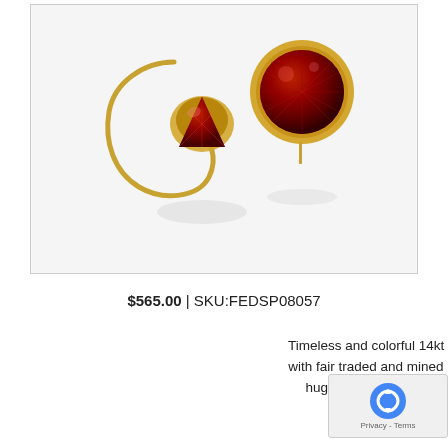[Figure (photo): Two gold and red garnet earrings on white background — one showing the hook/wire mechanism and one showing the front with round red gemstone bezel set in 14kt yellow gold]
$565.00 | SKU:FEDSP08057
Timeless and colorful 14kt EcoGold (recycled yellow gold) with fair traded and mined Portuguese Raja garnet ear hugger earrings. Designed by Toby Pomeroy